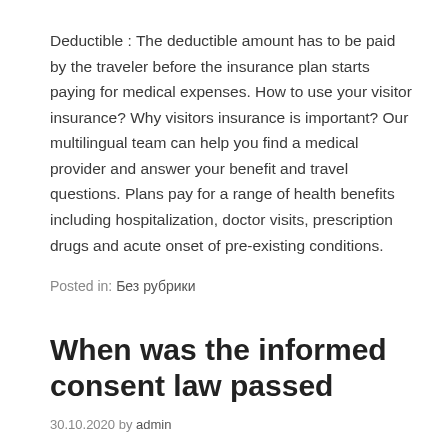Deductible : The deductible amount has to be paid by the traveler before the insurance plan starts paying for medical expenses. How to use your visitor insurance? Why visitors insurance is important? Our multilingual team can help you find a medical provider and answer your benefit and travel questions. Plans pay for a range of health benefits including hospitalization, doctor visits, prescription drugs and acute onset of pre-existing conditions.
Posted in: Без рубрики
When was the informed consent law passed
30.10.2020 by admin